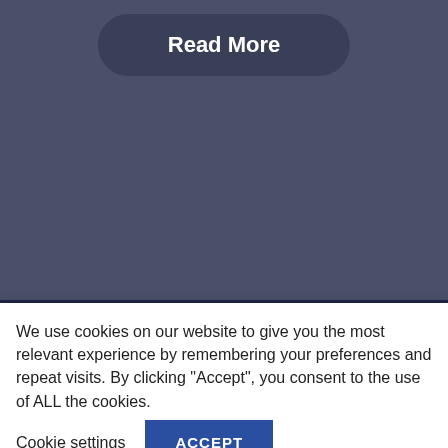Read More
[Figure (logo): Inheritance Disputes logo with serif bold text and a white feather quill illustration to the right]
info@inheritancedisputes.
We use cookies on our website to give you the most relevant experience by remembering your preferences and repeat visits. By clicking “Accept”, you consent to the use of ALL the cookies.
Cookie settings
ACCEPT